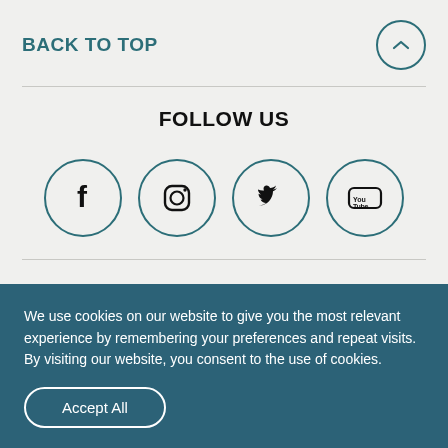BACK TO TOP
FOLLOW US
[Figure (infographic): Four social media icons in teal-bordered circles: Facebook, Instagram, Twitter, YouTube]
SUBSCRIBE
We use cookies on our website to give you the most relevant experience by remembering your preferences and repeat visits. By visiting our website, you consent to the use of cookies.
Accept All